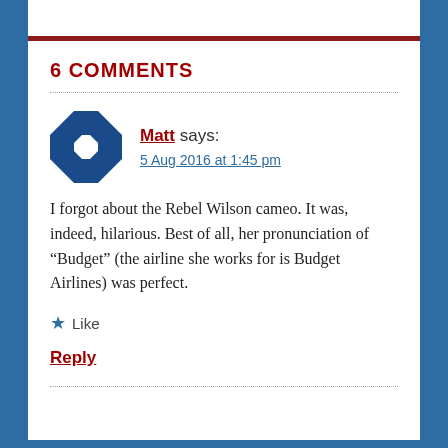6 COMMENTS
Matt says:
5 Aug 2016 at 1:45 pm
I forgot about the Rebel Wilson cameo. It was, indeed, hilarious. Best of all, her pronunciation of “Budget” (the airline she works for is Budget Airlines) was perfect.
★ Like
Reply